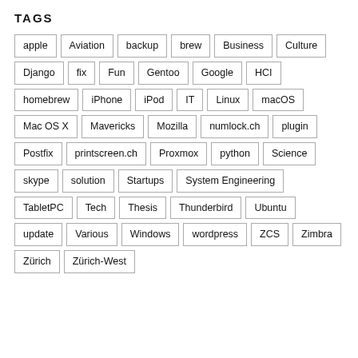TAGS
apple
Aviation
backup
brew
Business
Culture
Django
fix
Fun
Gentoo
Google
HCI
homebrew
iPhone
iPod
IT
Linux
macOS
Mac OS X
Mavericks
Mozilla
numlock.ch
plugin
Postfix
printscreen.ch
Proxmox
python
Science
skype
solution
Startups
System Engineering
TabletPC
Tech
Thesis
Thunderbird
Ubuntu
update
Various
Windows
wordpress
ZCS
Zimbra
Zürich
Zürich-West